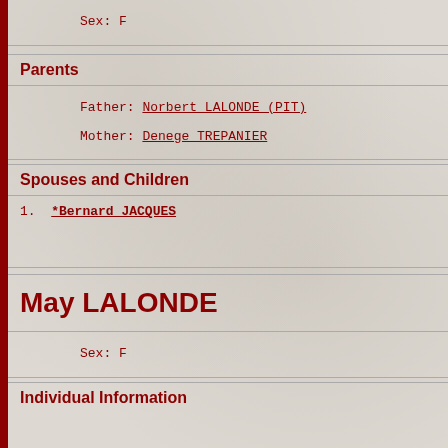Sex: F
Parents
Father: Norbert LALONDE (PIT)
Mother: Denege TREPANIER
Spouses and Children
1. *Bernard JACQUES
May LALONDE
Sex: F
Individual Information